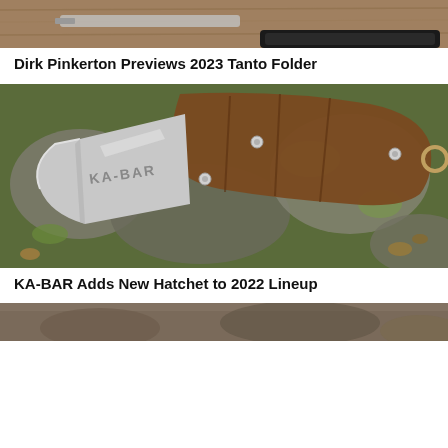[Figure (photo): Top portion of a photo showing a knife or folder tool on a wooden surface with a smartphone nearby]
Dirk Pinkerton Previews 2023 Tanto Folder
[Figure (photo): KA-BAR branded hatchet with brown handle lying on mossy rocks and foliage outdoors]
KA-BAR Adds New Hatchet to 2022 Lineup
[Figure (photo): Partial view of another product photo at the bottom of the page]